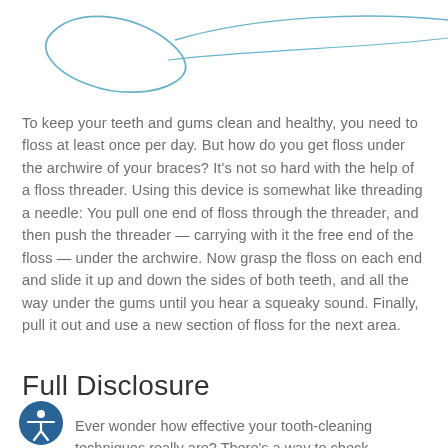[Figure (illustration): Line drawing of a floss threader device — a thin loop/needle shape drawn in light blue/teal lines on white background, showing the threader tool used to pass floss under braces archwire.]
To keep your teeth and gums clean and healthy, you need to floss at least once per day. But how do you get floss under the archwire of your braces? It's not so hard with the help of a floss threader. Using this device is somewhat like threading a needle: You pull one end of floss through the threader, and then push the threader — carrying with it the free end of the floss — under the archwire. Now grasp the floss on each end and slide it up and down the sides of both teeth, and all the way under the gums until you hear a squeaky sound. Finally, pull it out and use a new section of floss for the next area.
Full Disclosure
Ever wonder how effective your tooth-cleaning techniques really are? There's a way to check...